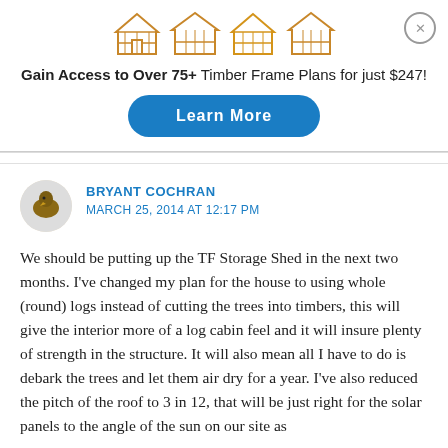[Figure (illustration): Four timber frame house structure illustrations/icons in gold/brown color]
Gain Access to Over 75+ Timber Frame Plans for just $247!
[Figure (other): Blue rounded button with text 'Learn More']
BRYANT COCHRAN
MARCH 25, 2014 AT 12:17 PM
We should be putting up the TF Storage Shed in the next two months. I've changed my plan for the house to using whole (round) logs instead of cutting the trees into timbers, this will give the interior more of a log cabin feel and it will insure plenty of strength in the structure. It will also mean all I have to do is debark the trees and let them air dry for a year. I've also reduced the pitch of the roof to 3 in 12, that will be just right for the solar panels to the angle of the sun on our site as